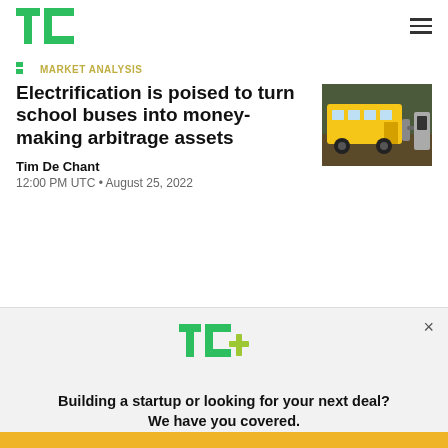TechCrunch
Market Analysis
Electrification is poised to turn school buses into money-making arbitrage assets
[Figure (photo): Yellow school bus being charged at an electric charging station]
Tim De Chant
12:00 PM UTC • August 25, 2022
[Figure (logo): TC+ logo in green with plus sign in yellow-green]
Building a startup or looking for your next deal? We have you covered.
EXPLORE NOW